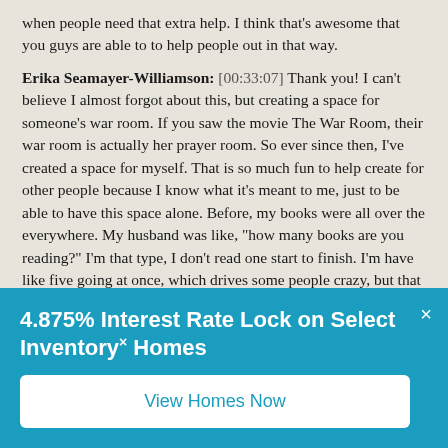when people need that extra help. I think that's awesome that you guys are able to to help people out in that way.
Erika Seamayer-Williamson: [00:33:07] Thank you! I can't believe I almost forgot about this, but creating a space for someone's war room. If you saw the movie The War Room, their war room is actually her prayer room. So ever since then, I've created a space for myself. That is so much fun to help create for other people because I know what it's meant to me, just to be able to have this space alone. Before, my books were all over the everywhere. My husband was like, "how many books are you reading?" I'm that type, I don't read one start to finish. I'm have like five going at once, which drives some people crazy, but that
4.875% Interest Rate Lock on Select Inventory Homes
View Homes Now